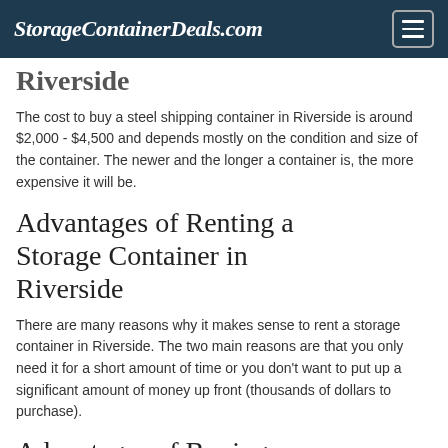StorageContainerDeals.com
Riverside
The cost to buy a steel shipping container in Riverside is around $2,000 - $4,500 and depends mostly on the condition and size of the container. The newer and the longer a container is, the more expensive it will be.
Advantages of Renting a Storage Container in Riverside
There are many reasons why it makes sense to rent a storage container in Riverside. The two main reasons are that you only need it for a short amount of time or you don't want to put up a significant amount of money up front (thousands of dollars to purchase).
Advantages of Buying a Shipping Container in